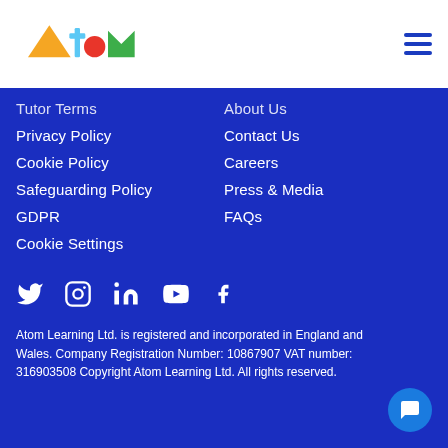[Figure (logo): Atom Learning logo with colorful geometric shapes and stylized text]
Tutor Terms
Privacy Policy
Cookie Policy
Safeguarding Policy
GDPR
Cookie Settings
About Us
Contact Us
Careers
Press & Media
FAQs
[Figure (illustration): Social media icons: Twitter, Instagram, LinkedIn, YouTube, Facebook]
Atom Learning Ltd. is registered and incorporated in England and Wales. Company Registration Number: 10867907 VAT number: 316903508 Copyright Atom Learning Ltd. All rights reserved.